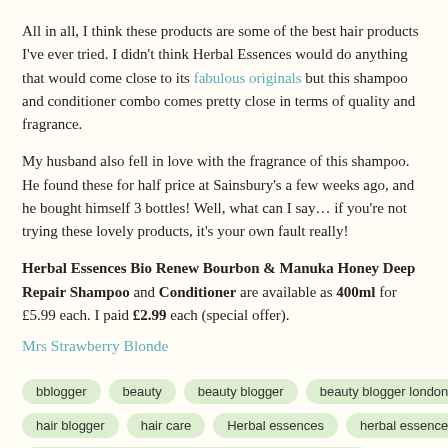All in all, I think these products are some of the best hair products I've ever tried. I didn't think Herbal Essences would do anything that would come close to its fabulous originals but this shampoo and conditioner combo comes pretty close in terms of quality and fragrance.
My husband also fell in love with the fragrance of this shampoo. He found these for half price at Sainsbury's a few weeks ago, and he bought himself 3 bottles! Well, what can I say… if you're not trying these lovely products, it's your own fault really!
Herbal Essences Bio Renew Bourbon & Manuka Honey Deep Repair Shampoo and Conditioner are available as 400ml for £5.99 each. I paid £2.99 each (special offer).
Mrs Strawberry Blonde
bblogger
beauty
beauty blogger
beauty blogger london
Hair
hair blogger
hair care
Herbal essences
herbal essences bio renew
Herbal Essences Bio Renew Bourbon & Manuka Honey